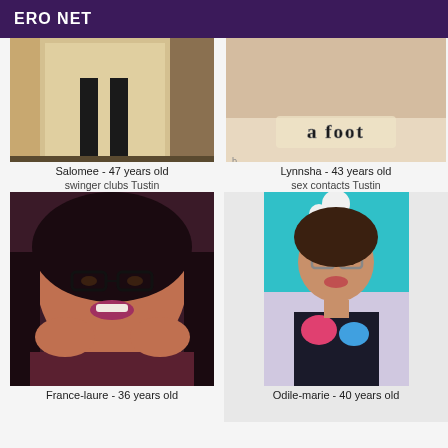ERO NET
[Figure (photo): Photo of legs in black stockings and heels near a door]
Salomee - 47 years old
swinger clubs Tustin
[Figure (photo): Close-up photo with text overlay reading 'a foot']
Lynnsha - 43 years old
sex contacts Tustin
[Figure (photo): Smiling woman with glasses and dark hair]
France-laure - 36 years old
[Figure (photo): Young woman with glasses against teal background]
Odile-marie - 40 years old